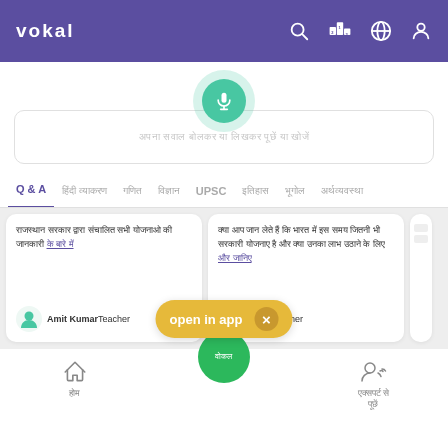vokal
[Figure (screenshot): Vokal app interface showing voice search button, search bar with Hindi placeholder text, category tabs (Q&A, UPSC etc.), answer cards with Hindi text, author names Amit Kumar Teacher and Sunil Teacher, open in app banner, and bottom navigation]
Q & A UPSC
Amit Kumar Teacher
Sunil Teacher
open in app